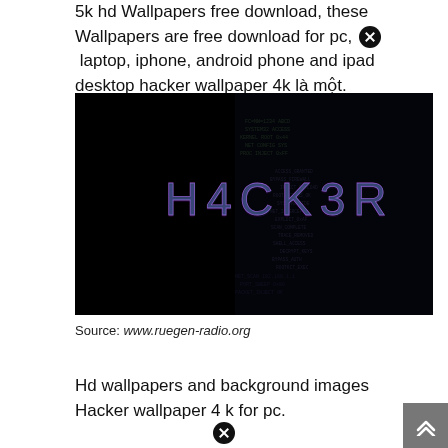5k hd Wallpapers free download, these Wallpapers are free download for pc, laptop, iphone, android phone and ipad desktop hacker wallpaper 4k là một.
[Figure (photo): Dark hacker wallpaper with 'H4CK3R' text in purple/blue glitch style against a black background with code text overlay]
Source: www.ruegen-radio.org
Hd wallpapers and background images Hacker wallpaper 4 k for pc.